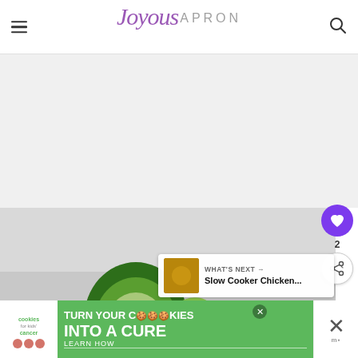Joyous APRON
[Figure (photo): Photo area placeholder (white/gray) for a food blog post, with an avocado halved with pit visible and lime wedge, on a light gray background]
[Figure (infographic): Sidebar with purple heart button showing count 2, and share button]
WHAT'S NEXT → Slow Cooker Chicken...
[Figure (photo): Advertisement banner: cookies for kids cancer - turn your cookies into a CURE LEARN HOW]